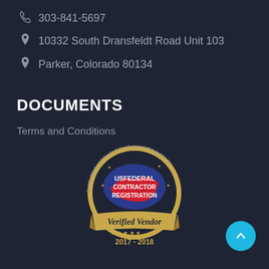303-841-5697
10332 South Dransfeldt Road Unit 103
Parker, Colorado 80134
DOCUMENTS
Terms and Conditions
[Figure (logo): US Federal Contractor Registration Verified Vendor 2017-2018 badge/seal]